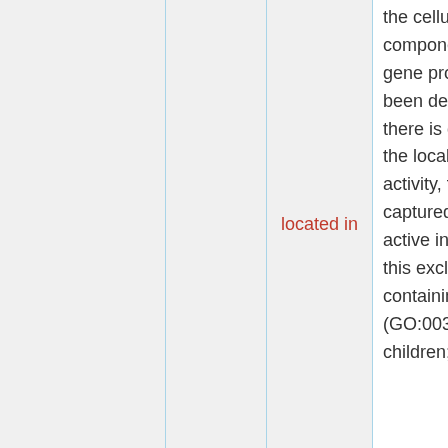|  |  | located in | the cellular component in which a gene product has been detected. If there is data about the localization of the activity, this should be captured using 'is active in'. Note that this excludes 'protein-containing complex' (GO:0032991) and children; |